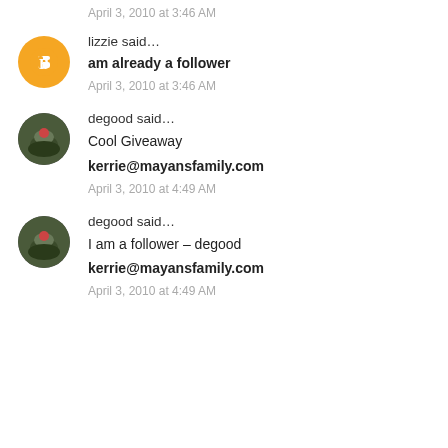April 3, 2010 at 3:46 AM
lizzie said...
am already a follower
April 3, 2010 at 3:46 AM
degood said...
Cool Giveaway
kerrie@mayansfamily.com
April 3, 2010 at 4:49 AM
degood said...
I am a follower - degood
kerrie@mayansfamily.com
April 3, 2010 at 4:49 AM